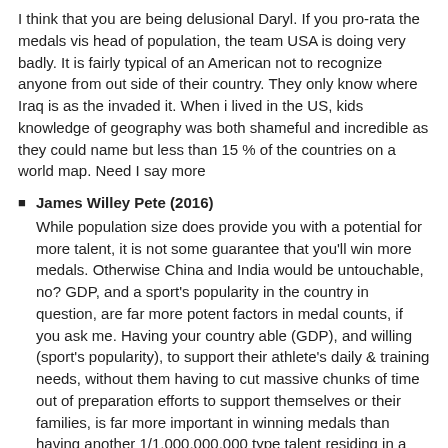I think that you are being delusional Daryl. If you pro-rata the medals vis head of population, the team USA is doing very badly. It is fairly typical of an American not to recognize anyone from out side of their country. They only know where Iraq is as the invaded it. When i lived in the US, kids knowledge of geography was both shameful and incredible as they could name but less than 15 % of the countries on a world map. Need I say more
James Willey Pete (2016) While population size does provide you with a potential for more talent, it is not some guarantee that you'll win more medals. Otherwise China and India would be untouchable, no? GDP, and a sport's popularity in the country in question, are far more potent factors in medal counts, if you ask me. Having your country able (GDP), and willing (sport's popularity), to support their athlete's daily & training needs, without them having to cut massive chunks of time out of preparation efforts to support themselves or their families, is far more important in winning medals than having another 1/1,000,000,000 type talent residing in a person with no access to proper training or equipment/facilities. Phelps wouldn't be who he is without the resources and his the proper background behind him...